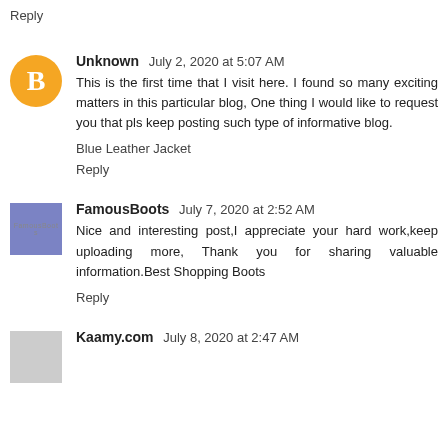Reply
Unknown  July 2, 2020 at 5:07 AM
This is the first time that I visit here. I found so many exciting matters in this particular blog, One thing I would like to request you that pls keep posting such type of informative blog.
Blue Leather Jacket
Reply
FamousBoots  July 7, 2020 at 2:52 AM
Nice and interesting post,I appreciate your hard work,keep uploading more, Thank you for sharing valuable information.Best Shopping Boots
Reply
Kaamy.com  July 8, 2020 at 2:47 AM